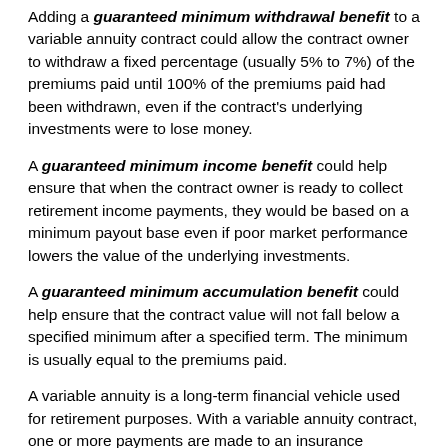Adding a guaranteed minimum withdrawal benefit to a variable annuity contract could allow the contract owner to withdraw a fixed percentage (usually 5% to 7%) of the premiums paid until 100% of the premiums paid had been withdrawn, even if the contract's underlying investments were to lose money.
A guaranteed minimum income benefit could help ensure that when the contract owner is ready to collect retirement income payments, they would be based on a minimum payout base even if poor market performance lowers the value of the underlying investments.
A guaranteed minimum accumulation benefit could help ensure that the contract value will not fall below a specified minimum after a specified term. The minimum is usually equal to the premiums paid.
A variable annuity is a long-term financial vehicle used for retirement purposes. With a variable annuity contract, one or more payments are made to an insurance company, which agrees to pay an income stream or a lump-sum amount at a later date. Variable annuities have contract limitations, fees, and charges, which can include mortality and expense risk charges, sales and surrender charges, investment management fees, administrative fees, and charges for optional benefits. Withdrawals reduce contract benefits and values. Variable annuities are not guaranteed by the FDIC or any other government agency, nor are they guaranteed or endorsed by any